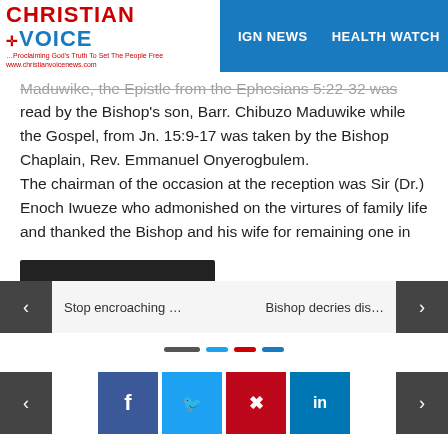Christian Voice — FOREIGN NEWS   HEALTH WATCH
Maduwike, the Epistle from the Ephesians 5:22-32 was read by the Bishop's son, Barr. Chibuzo Maduwike while the Gospel, from Jn. 15:9-17 was taken by the Bishop Chaplain, Rev. Emmanuel Onyerogbulem. The chairman of the occasion at the reception was Sir (Dr.) Enoch Iwueze who admonished on the virtures of family life and thanked the Bishop and his wife for remaining one in love. He described Bishop Emma Maduwike as a charismatic preacher whom God is still using to touch many lives.
Post Views: 69